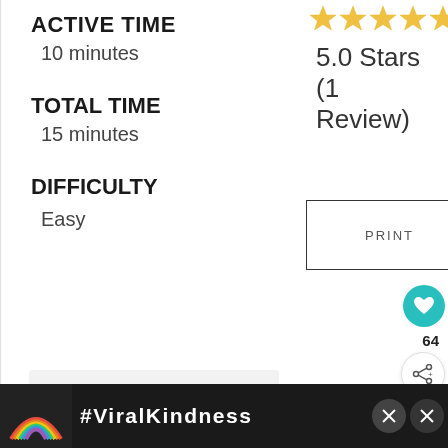ACTIVE TIME
10 minutes
[Figure (other): 5 gold star rating icons in a row]
5.0 Stars (1 Review)
TOTAL TIME
15 minutes
PRINT
DIFFICULTY
Easy
64
WHAT'S NEXT → Easy Crab Craft Ideas F...
[Figure (photo): Gray placeholder area with rainbow craft image thumbnail]
#ViralKindness